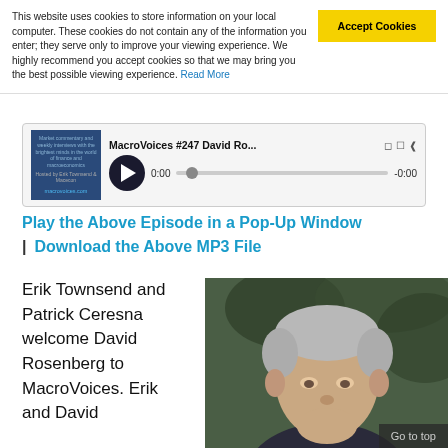This website uses cookies to store information on your local computer. These cookies do not contain any of the information you enter; they serve only to improve your viewing experience. We highly recommend you accept cookies so that we may bring you the best possible viewing experience. Read More
[Figure (screenshot): Audio player for MacroVoices #247 David Ro... showing play button, progress bar, timestamps 0:00 and -0:00, with podcast thumbnail on left]
Play the Above Episode in a Pop-Up Window  |  Download the Above MP3 File
Erik Townsend and Patrick Ceresna welcome David Rosenberg to MacroVoices. Erik and David
[Figure (photo): Portrait photo of David Rosenberg, a man with grey/white hair, with a 'Go to top' button overlay at bottom]